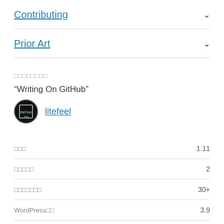Contributing
Prior Art
□□□□□□□□
“Writing On GitHub”
litefeel
|  |  |
| --- | --- |
| □□□ | 1.11 |
| □□□□□ | 2 |
| □□□□□□□ | 30+ |
| WordPress□□ | 3.9 |